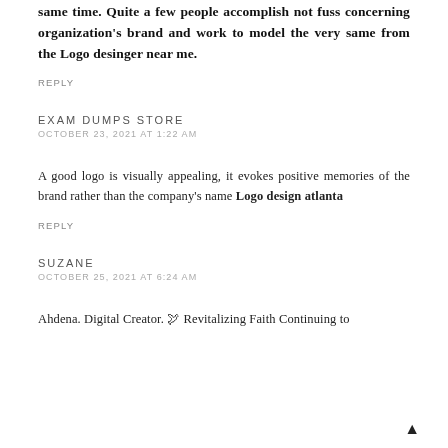same time. Quite a few people accomplish not fuss concerning organization's brand and work to model the very same from the Logo desinger near me.
REPLY
EXAM DUMPS STORE
OCTOBER 23, 2021 AT 1:22 AM
A good logo is visually appealing, it evokes positive memories of the brand rather than the company's name Logo design atlanta
REPLY
SUZANE
OCTOBER 25, 2021 AT 6:24 AM
Ahdena. Digital Creator. 🕊 Revitalizing Faith Continuing to